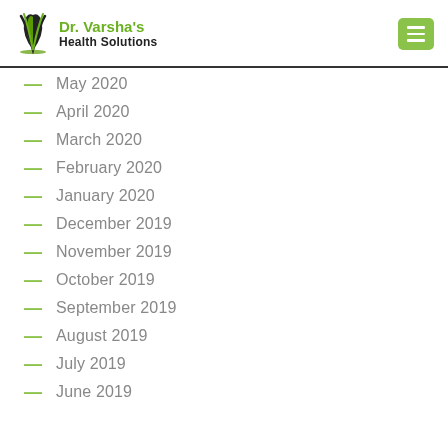[Figure (logo): Dr. Varsha's Health Solutions logo with stylized V icon in green and black text]
May 2020
April 2020
March 2020
February 2020
January 2020
December 2019
November 2019
October 2019
September 2019
August 2019
July 2019
June 2019